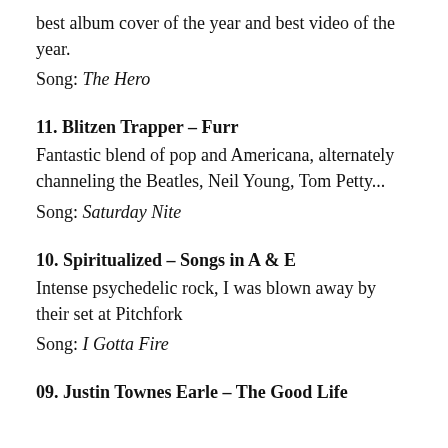best album cover of the year and best video of the year.
Song: The Hero
11. Blitzen Trapper – Furr
Fantastic blend of pop and Americana, alternately channeling the Beatles, Neil Young, Tom Petty...
Song: Saturday Nite
10. Spiritualized – Songs in A & E
Intense psychedelic rock, I was blown away by their set at Pitchfork
Song: I Gotta Fire
09. Justin Townes Earle – The Good Life